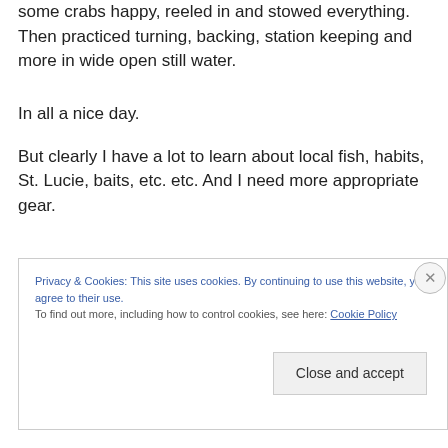Afterwards, stripped the tired liver off the hooks, made some crabs happy, reeled in and stowed everything. Then practiced turning, backing, station keeping and more in wide open still water.
In all a nice day.
But clearly I have a lot to learn about local fish, habits, St. Lucie, baits, etc. etc. And I need more appropriate gear.
Privacy & Cookies: This site uses cookies. By continuing to use this website, you agree to their use.
To find out more, including how to control cookies, see here: Cookie Policy
Close and accept